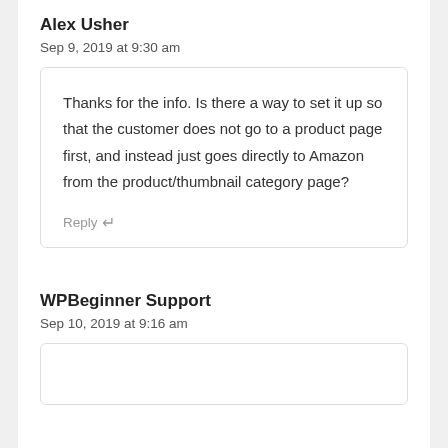Alex Usher
Sep 9, 2019 at 9:30 am
Thanks for the info. Is there a way to set it up so that the customer does not go to a product page first, and instead just goes directly to Amazon from the product/thumbnail category page?
Reply
WPBeginner Support
Sep 10, 2019 at 9:16 am